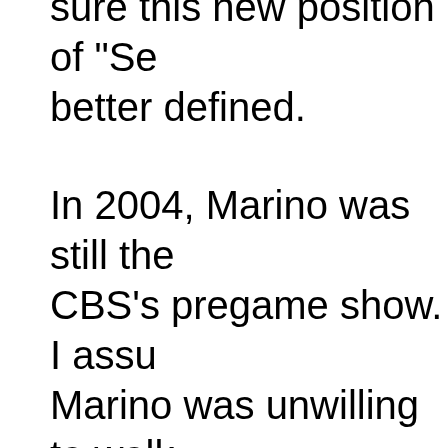sure this new position of "Se better defined.
In 2004, Marino was still the CBS's pregame show. I assu Marino was unwilling to walk comfortable television contr uncertain world of high-stake was fired from CBS earlier th in Hollywood is that "his con renewed"), so maybe the Do fall-back position. "Special A